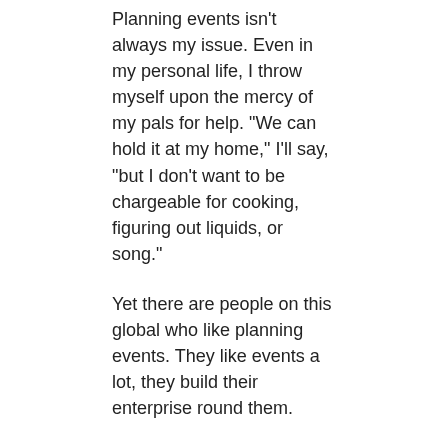Planning events isn't always my issue. Even in my personal life, I throw myself upon the mercy of my pals for help. "We can hold it at my home," I'll say, "but I don't want to be chargeable for cooking, figuring out liquids, or song."
Yet there are people on this global who like planning events. They like events a lot, they build their enterprise round them.
I'm speaking about the ones many paintings-at-domestic, direct sales corporations; agencies that advocate the use of home parties as a manner to build a patron base.
Direct income businesses are rarely new. Fuller Brush, Avon and Raleigh representatives had been in our home once I turned into a baby.